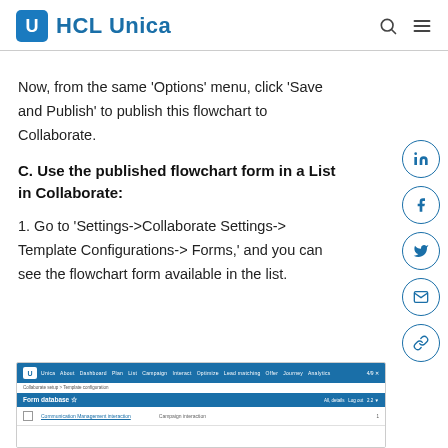HCL Unica
Now, from the same ‘Options’ menu, click ‘Save and Publish’ to publish this flowchart to Collaborate.
C. Use the published flowchart form in a List in Collaborate:
1. Go to ‘Settings->Collaborate Settings-> Template Configurations-> Forms,’ and you can see the flowchart form available in the list.
[Figure (screenshot): Screenshot of HCL Unica interface showing Form database page with a list of forms including Communication Management interaction]